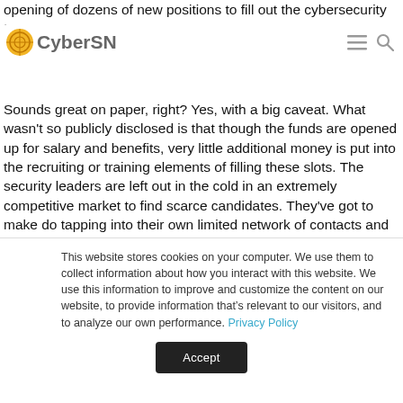CyberSN
opening of dozens of new positions to fill out the cybersecurity team.
Sounds great on paper, right? Yes, with a big caveat. What wasn't so publicly disclosed is that though the funds are opened up for salary and benefits, very little additional money is put into the recruiting or training elements of filling these slots. The security leaders are left out in the cold in an extremely competitive market to find scarce candidates. They've got to make do tapping into their own limited network of contacts and maybe leaning on a little internal help from HR, which rarely has valuable insights into the unique nature of the insular security world.
This website stores cookies on your computer. We use them to collect information about how you interact with this website. We use this information to improve and customize the content on our website, to provide information that's relevant to our visitors, and to analyze our own performance. Privacy Policy
Accept